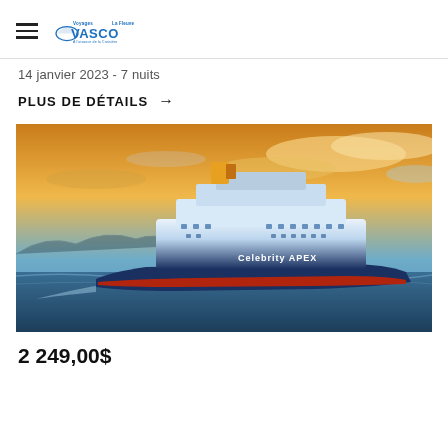Voyages Vasco La Fleuve — À l'aisance de la Croisière
14 janvier 2023 - 7 nuits
PLUS DE DÉTAILS →
[Figure (photo): Photograph of the Celebrity APEX cruise ship sailing on open water at sunset with dramatic golden clouds in the background.]
2 249,00$